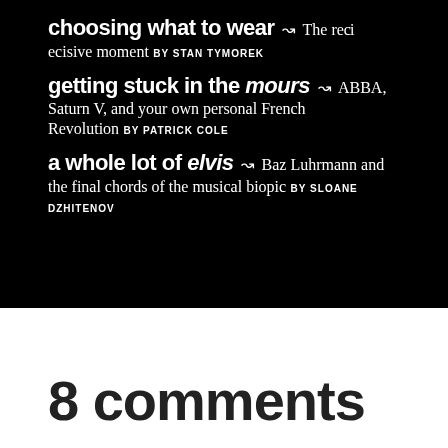choosing what to wear ↝ The reècisive moment BY STAN TYMOREK
getting stuck in the mours ↝ ABBA, Saturn V, and your own personal French Revolution BY PATRICK COLE
a whole lot of elvis ↝ Baz Luhrmann and the final chords of the musical biopic BY SLOANE DZHITENOV
8 comments